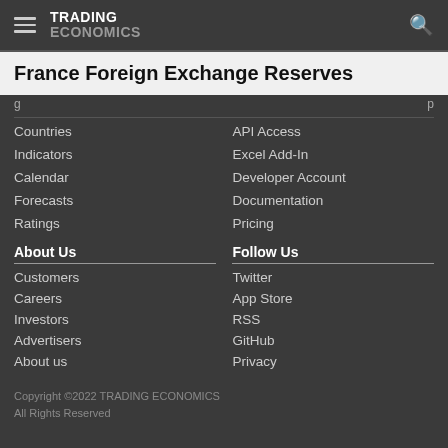TRADING ECONOMICS
France Foreign Exchange Reserves
Countries
Indicators
Calendar
Forecasts
Ratings
API Access
Excel Add-In
Developer Account
Documentation
Pricing
About Us
Customers
Careers
Investors
Advertisers
About us
Follow Us
Twitter
App Store
RSS
GitHub
Privacy
Copyright ©2022 TRADING ECONOMICS
All Rights Reserved